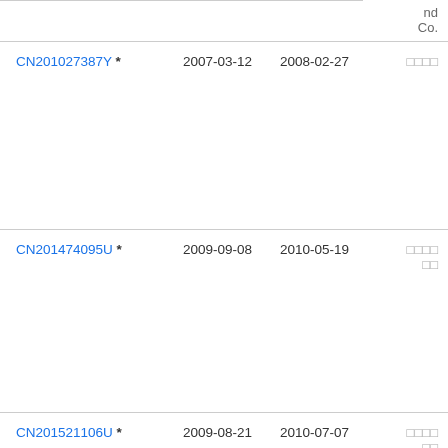| Patent | Filing Date | Publication Date | nd Co. |
| --- | --- | --- | --- |
| CN201027387Y * | 2007-03-12 | 2008-02-27 | □□□□ |
| CN201474095U * | 2009-09-08 | 2010-05-19 | □□□□□□ |
| CN201521106U * | 2009-08-21 | 2010-07-07 | □□□□□□ |